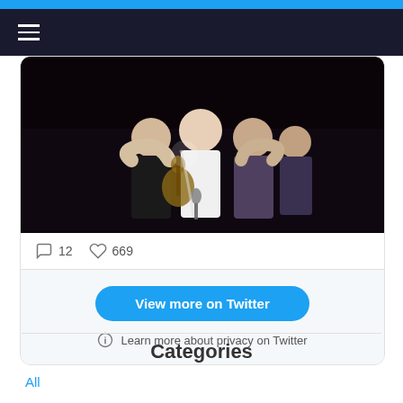Navigation bar with hamburger menu
[Figure (photo): Several people hugging on a dark stage, one holding a guitar and microphone, concert setting]
12  669
View more on Twitter
Learn more about privacy on Twitter
Categories
All